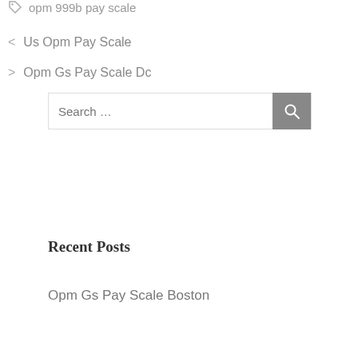opm 999b pay scale
< Us Opm Pay Scale
> Opm Gs Pay Scale Dc
[Figure (other): Search bar with text 'Search ...' and a gray search button with magnifying glass icon]
Recent Posts
Opm Gs Pay Scale Boston